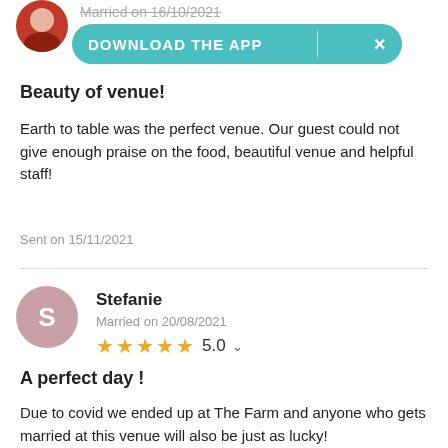[Figure (screenshot): Partially visible profile photo of a person at top left, and a teal 'DOWNLOAD THE APP' banner with X button]
Married on 16/10/2021
Beauty of venue!
Earth to table was the perfect venue. Our guest could not give enough praise on the food, beautiful venue and helpful staff!
Sent on 15/11/2021
[Figure (illustration): Avatar circle with letter S for Stefanie]
Stefanie
Married on 20/08/2021
★★★★★ 5.0
A perfect day !
Due to covid we ended up at The Farm and anyone who gets married at this venue will also be just as lucky! It was a perfect day. Food was amazing and all dietary